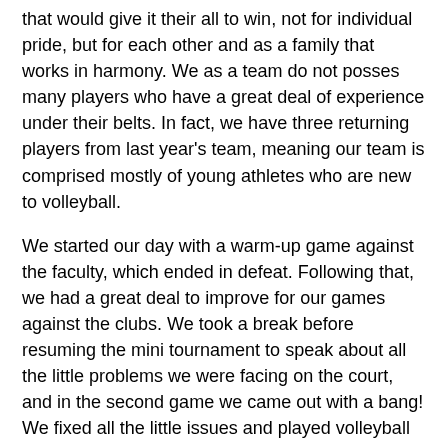that would give it their all to win, not for individual pride, but for each other and as a family that works in harmony. We as a team do not posses many players who have a great deal of experience under their belts. In fact, we have three returning players from last year's team, meaning our team is comprised mostly of young athletes who are new to volleyball.
We started our day with a warm-up game against the faculty, which ended in defeat. Following that, we had a great deal to improve for our games against the clubs. We took a break before resuming the mini tournament to speak about all the little problems we were facing on the court, and in the second game we came out with a bang! We fixed all the little issues and played volleyball on a whole new level. We seemed to have shocked ourselves. We won the the game in an intense 3 set battle. The feeling was exhilarating. Then, we had a game that followed in quick succession, where we managed to bust through the ceiling and perform as a top class team. We beat the second club team in straight sets. We were beginning to come together as a great team. Finally, we had our final game against the Jawalakhel Volleyball Youth Club, a team with huge amounts of experience